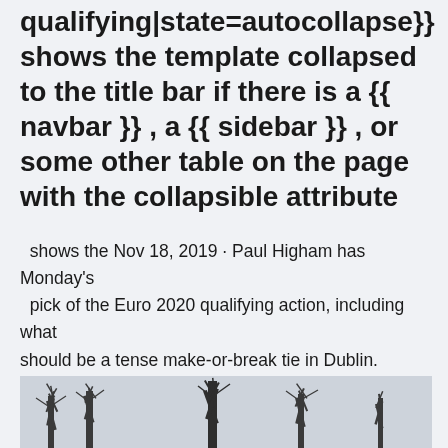qualifying|state=autocollapse}} shows the template collapsed to the title bar if there is a {{ navbar }} , a {{ sidebar }} , or some other table on the page with the collapsible attribute
shows the Nov 18, 2019 · Paul Higham has Monday's pick of the Euro 2020 qualifying action, including what should be a tense make-or-break tie in Dublin. Recommended bets 1pt Draw at half time in Rep Ireland v Denmark at Evens View the latest odds on UEFA Euro 2020 Matches & Bet with Sportsbet.
[Figure (photo): Winter trees with bare branches photographed from below against a light sky, appearing as a horizontal strip at the bottom of the page]